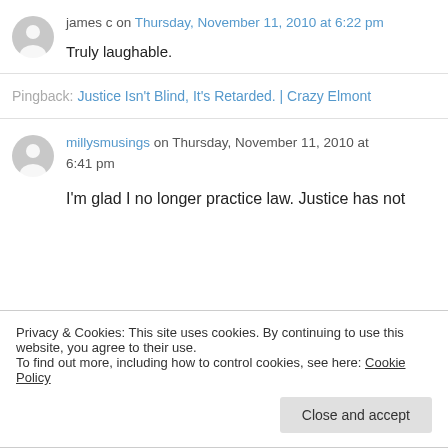james c on Thursday, November 11, 2010 at 6:22 pm
Truly laughable.
Pingback: Justice Isn't Blind, It's Retarded. | Crazy Elmont
millysmusings on Thursday, November 11, 2010 at 6:41 pm
I'm glad I no longer practice law. Justice has not
Privacy & Cookies: This site uses cookies. By continuing to use this website, you agree to their use. To find out more, including how to control cookies, see here: Cookie Policy
Close and accept